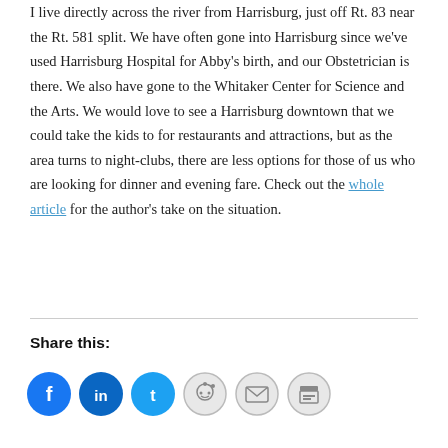I live directly across the river from Harrisburg, just off Rt. 83 near the Rt. 581 split. We have often gone into Harrisburg since we've used Harrisburg Hospital for Abby's birth, and our Obstetrician is there. We also have gone to the Whitaker Center for Science and the Arts. We would love to see a Harrisburg downtown that we could take the kids to for restaurants and attractions, but as the area turns to night-clubs, there are less options for those of us who are looking for dinner and evening fare. Check out the whole article for the author's take on the situation.
Share this:
[Figure (infographic): Row of six social share icon buttons: Facebook (blue), LinkedIn (blue), Twitter (blue), Reddit (light grey), Email (light grey), Print (light grey)]